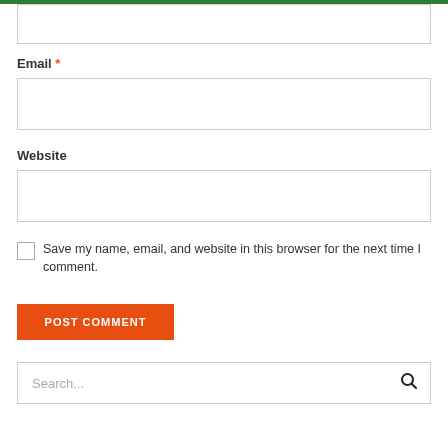Email *
Website
Save my name, email, and website in this browser for the next time I comment.
POST COMMENT
Search...